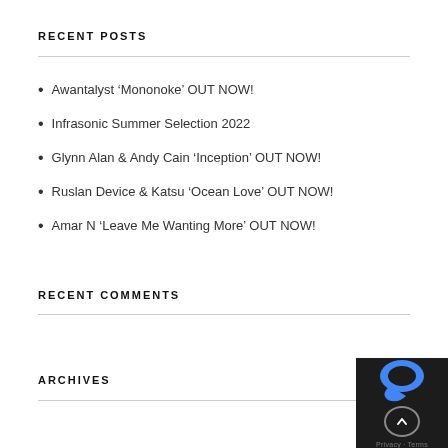RECENT POSTS
Awantalyst ‘Mononoke’ OUT NOW!
Infrasonic Summer Selection 2022
Glynn Alan & Andy Cain ‘Inception’ OUT NOW!
Ruslan Device & Katsu ‘Ocean Love’ OUT NOW!
Amar N ‘Leave Me Wanting More’ OUT NOW!
RECENT COMMENTS
ARCHIVES